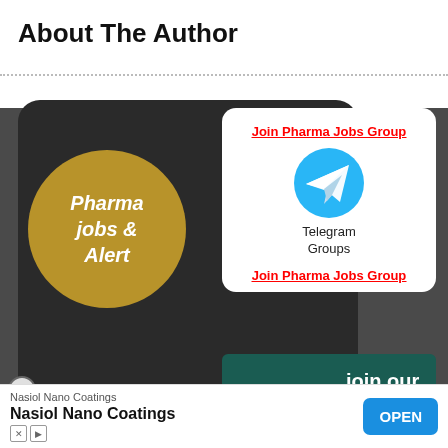About The Author
[Figure (screenshot): Dark tablet background with gold circle containing italic text 'Pharma jobs Alert']
[Figure (infographic): White popup modal with red bold underlined link 'Join Pharma Jobs Group', Telegram circle logo icon, text 'Telegram Groups', second red bold underlined link 'Join Pharma Jobs Group', and a dark green WhatsApp banner reading 'join our WhatsApp Group']
[Figure (screenshot): Video advertisement for Cyberpunk Super League 24/7 with purple background and play button]
[Figure (infographic): Bottom advertisement banner for Nasiol Nano Coatings with an OPEN button]